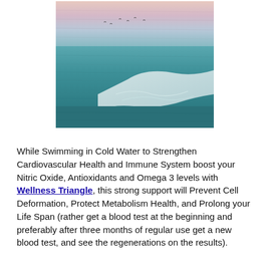[Figure (photo): Aerial view of ocean water with a breaking wave, showing teal-blue sea with white foam and a pink-hued sky reflection at the top]
While Swimming in Cold Water to Strengthen Cardiovascular Health and Immune System boost your Nitric Oxide, Antioxidants and Omega 3 levels with Wellness Triangle, this strong support will Prevent Cell Deformation, Protect Metabolism Health, and Prolong your Life Span (rather get a blood test at the beginning and preferably after three months of regular use get a new blood test, and see the regenerations on the results).